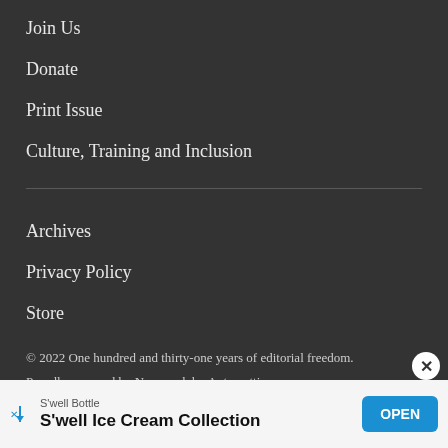Join Us
Donate
Print Issue
Culture, Training and Inclusion
Archives
Privacy Policy
Store
© 2022 One hundred and thirty-one years of editorial freedom.
Proudly powered by Newspack by Automattic
[Figure (other): Advertisement banner: S'well Bottle brand, S'well Ice Cream Collection, with OPEN button]